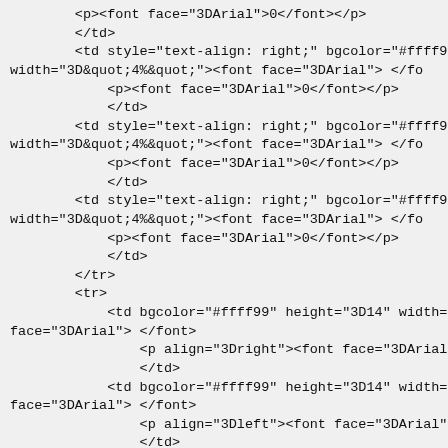<p><font face="3DArial">0</font></p>
        </td>
        <td style="text-align: right;" bgcolor="#ffff9
width="3D&quot;4%&quot;"><font face="3DArial"> </fo
            <p><font face="3DArial">0</font></p>
            </td>
        <td style="text-align: right;" bgcolor="#ffff9
width="3D&quot;4%&quot;"><font face="3DArial"> </fo
            <p><font face="3DArial">0</font></p>
            </td>
        <td style="text-align: right;" bgcolor="#ffff9
width="3D&quot;4%&quot;"><font face="3DArial"> </fo
            <p><font face="3DArial">0</font></p>
            </td>
        </tr>
        <tr>
            <td bgcolor="#ffff99" height="3D14" width="3D&
face="3DArial"> </font>
                <p align="3Dright"><font face="3DArial">10</fo
                </td>
            <td bgcolor="#ffff99" height="3D14" width="3D&
face="3DArial"> </font>
                <p align="3Dleft"><font face="3DArial">Lightni
                </td>
            <td style="text-align: right;" bgcolor="#ffff5